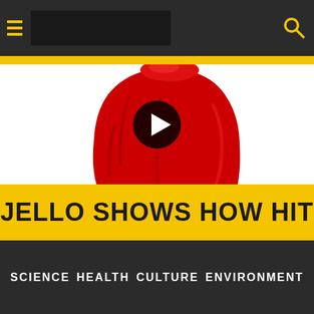Navigation bar with hamburger menu, logo area, and search icon
[Figure (photo): A red jello mold dessert on a white background, with a circular play button overlay in the center]
JELLO SHOWS HOW HIT
SCIENCE   HEALTH   CULTURE   ENVIRONMENT